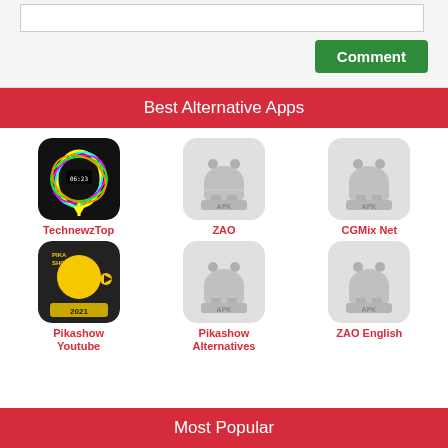[Figure (screenshot): Text area input box with a green Comment button]
Best Alternative Apps
[Figure (illustration): TechnewzTop app icon - colorful neon light show app]
TechnewzTop
[Figure (illustration): ZAO app icon - generic Android APK placeholder]
ZAO
[Figure (illustration): CGMix Net app icon - generic Android APK placeholder]
CGMix Net
[Figure (illustration): Pikashow Youtube app icon - Pika Show 2021 logo]
Pikashow Youtube
[Figure (illustration): Pikashow Alternatives app icon - generic Android APK placeholder]
Pikashow Alternatives
[Figure (illustration): ZAO English app icon - generic Android APK placeholder]
ZAO English
Most Popular